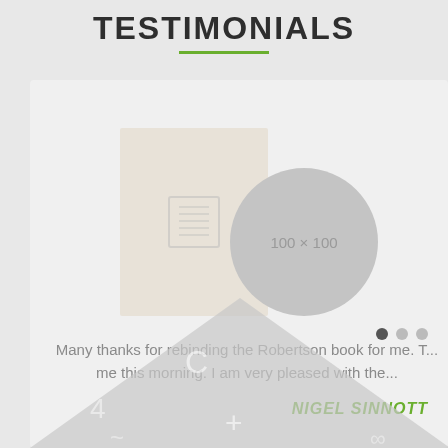TESTIMONIALS
[Figure (illustration): Book placeholder image (beige rectangle) and circular avatar placeholder labeled 100 x 100]
Many thanks for rebinding the Robertson book for me. T... me this morning. I am very pleased with the...
NIGEL SINNOTT
[Figure (illustration): Partially visible triangular image with symbols at the bottom of the card]